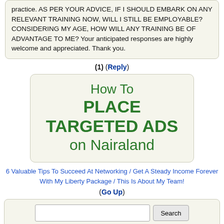practice. AS PER YOUR ADVICE, IF I SHOULD EMBARK ON ANY RELEVANT TRAINING NOW, WILL I STILL BE EMPLOYABLE? CONSIDERING MY AGE, HOW WILL ANY TRAINING BE OF ADVANTAGE TO ME? Your anticipated responses are highly welcome and appreciated. Thank you.
(1) (Reply)
[Figure (other): Advertisement box: How To PLACE TARGETED ADS on Nairaland]
6 Valuable Tips To Succeed At Networking / Get A Steady Income Forever With My Liberty Package / This Is About My Team!
(Go Up)
Search box with Search button
Sections: politics (1) business autos (1) jobs (1) career education (1) romance computers phones travel sports fashion health